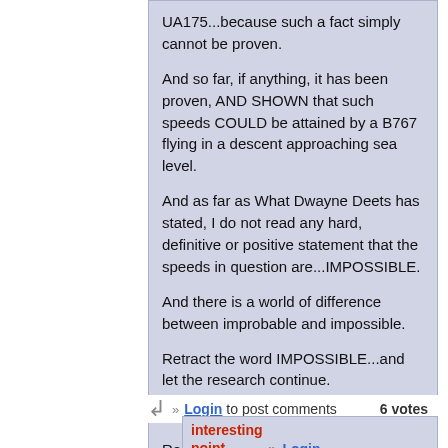UA175...because such a fact simply cannot be proven.
And so far, if anything, it has been proven, AND SHOWN that such speeds COULD be attained by a B767 flying in a descent approaching sea level.
And as far as What Dwayne Deets has stated, I do not read any hard, definitive or positive statement that the speeds in question are...IMPOSSIBLE.
And there is a world of difference between improbable and impossible.
Retract the word IMPOSSIBLE...and let the research continue.
9/11 Truth for World Peace
Robin Hordon
Kingston, WA
Robin Hordon on Thu, 06/24/2010 - 7:22pm.
Login to post comments  6 votes
interesting point
Robin: "Bursill was able to fly the B767 simulator AT such high speeds AT sea level